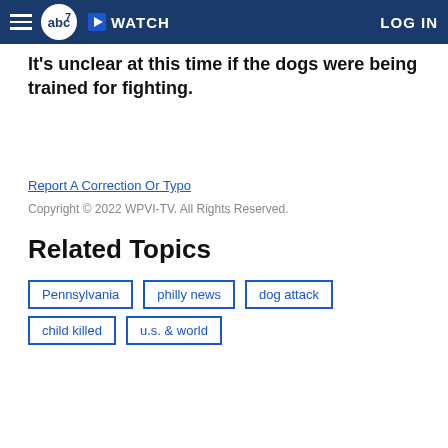abc7 WATCH LOG IN
It's unclear at this time if the dogs were being trained for fighting.
Report A Correction Or Typo
Copyright © 2022 WPVI-TV. All Rights Reserved.
Related Topics
Pennsylvania
philly news
dog attack
child killed
u.s. & world